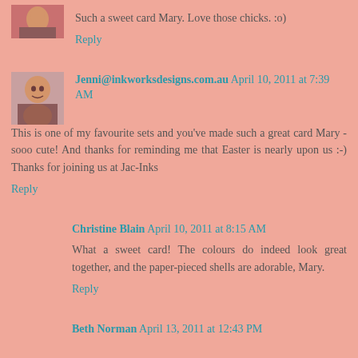[Figure (photo): Small avatar photo of a woman, partially visible at top-left, cropped]
Such a sweet card Mary. Love those chicks. :o)
Reply
[Figure (photo): Avatar photo of a woman with brown hair smiling]
Jenni@inkworksdesigns.com.au April 10, 2011 at 7:39 AM
This is one of my favourite sets and you've made such a great card Mary - sooo cute! And thanks for reminding me that Easter is nearly upon us :-) Thanks for joining us at Jac-Inks
Reply
Christine Blain April 10, 2011 at 8:15 AM
What a sweet card! The colours do indeed look great together, and the paper-pieced shells are adorable, Mary.
Reply
Beth Norman April 13, 2011 at 12:43 PM